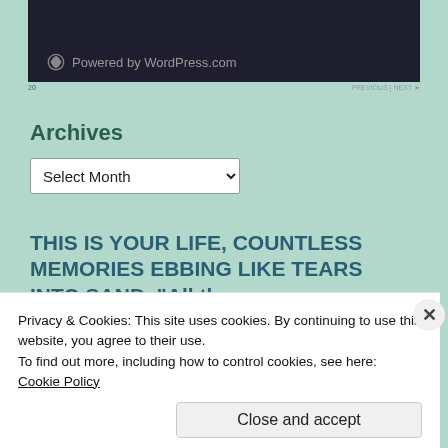[Figure (screenshot): WordPress.com dark footer screenshot showing 'Powered by WordPress.com' logo text on dark background]
Archives
[Figure (screenshot): Select Month dropdown UI element]
THIS IS YOUR LIFE, COUNTLESS MEMORIES EBBING LIKE TEARS INTO SAND. “All those
Privacy & Cookies: This site uses cookies. By continuing to use this website, you agree to their use.
To find out more, including how to control cookies, see here: Cookie Policy
[Figure (screenshot): Bottom strip of webpage showing book cover image partial]